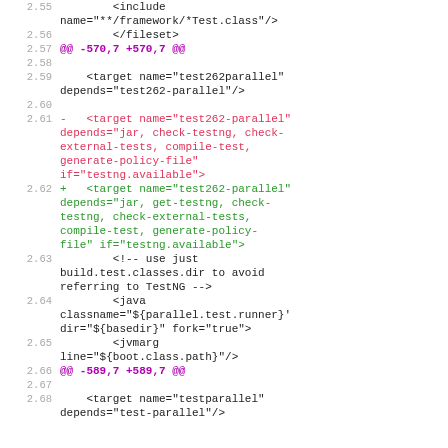2.55  <include name="**/framework/*Test.class"/>
2.56  </fileset>
2.57  @@ -570,7 +570,7 @@
2.58
2.59  <target name="test262parallel" depends="test262-parallel"/>
2.60
2.61  - <target name="test262-parallel" depends="jar, check-testng, check-external-tests, compile-test, generate-policy-file" if="testng.available">
2.62  + <target name="test262-parallel" depends="jar, get-testng, check-testng, check-external-tests, compile-test, generate-policy-file" if="testng.available">
2.63  <!-- use just build.test.classes.dir to avoid referring to TestNG -->
2.64  <java classname="${parallel.test.runner}' dir="${basedir}" fork="true">
2.65  <jvmarg line="${boot.class.path}"/>
2.66  @@ -589,7 +589,7 @@
2.67
2.68  <target name="testparallel" depends="test-parallel"/>